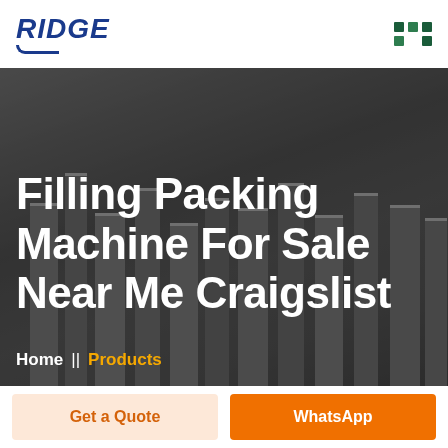RIDGE
[Figure (photo): Factory interior showing filling and packing machines in a warehouse setting, with a worker visible in the background. Dark overlay applied over the factory photo.]
Filling Packing Machine For Sale Near Me Craigslist
Home  ||  Products
Get a Quote
WhatsApp